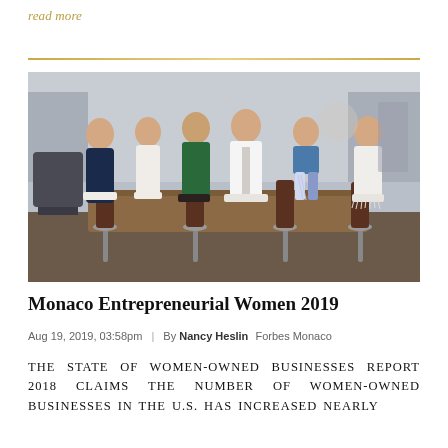read more
[Figure (photo): Group of six women sitting on bar stools in a modern interior setting, dressed in white, green, and blue outfits.]
Monaco Entrepreneurial Women 2019
Aug 19, 2019, 03:58pm | By Nancy Heslin Forbes Monaco
THE STATE OF WOMEN-OWNED BUSINESSES REPORT 2018 CLAIMS THE NUMBER OF WOMEN-OWNED BUSINESSES IN THE U.S. HAS INCREASED NEARLY